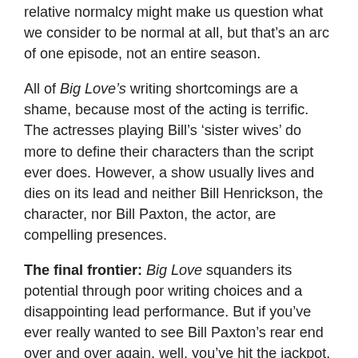relative normalcy might make us question what we consider to be normal at all, but that’s an arc of one episode, not an entire season.
All of Big Love’s writing shortcomings are a shame, because most of the acting is terrific. The actresses playing Bill’s ‘sister wives’ do more to define their characters than the script ever does. However, a show usually lives and dies on its lead and neither Bill Henrickson, the character, nor Bill Paxton, the actor, are compelling presences.
The final frontier: Big Love squanders its potential through poor writing choices and a disappointing lead performance. But if you’ve ever really wanted to see Bill Paxton’s rear end over and over again, well, you’ve hit the jackpot.